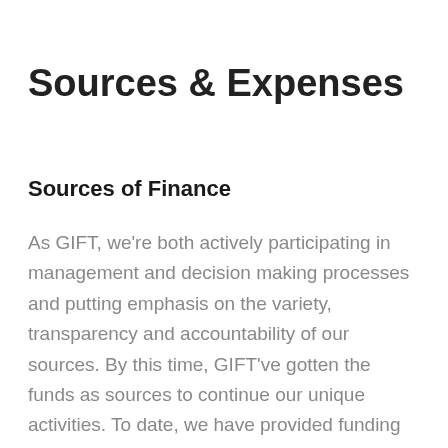Sources & Expenses
Sources of Finance
As GIFT, we're both actively participating in management and decision making processes and putting emphasis on the variety, transparency and accountability of our sources. By this time, GIFT've gotten the funds as sources to continue our unique activities. To date, we have provided funding through the following sources; we will continue our activities by using these resources in the future.